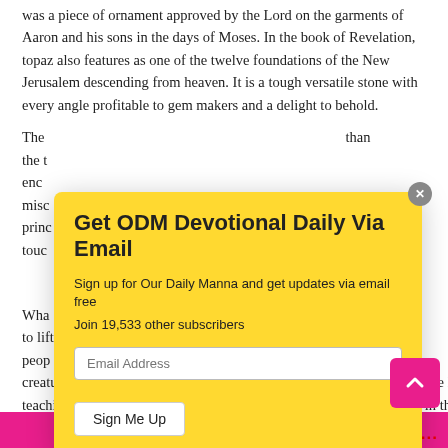was a piece of ornament approved by the Lord on the garments of Aaron and his sons in the days of Moses. In the book of Revelation, topaz also features as one of the twelve foundations of the New Jerusalem descending from heaven. It is a tough versatile stone with every angle profitable to gem makers and a delight to behold.
The [partially obscured by modal] than the t[obscured]...enc[obscured]...misc[obscured]...princ[obscured]...touc[obscured]...
[Figure (infographic): Email subscription modal popup with yellow background. Title: 'Get ODM Devotional Daily Via Email'. Subtitle: 'Sign up for Our Daily Manna and get updates via email free'. 'Join 19,533 other subscribers'. Email Address input field and 'Sign Me Up' button. Close button (X) in gray circle at top right.]
Wha[partially obscured]...one to lift[obscured]...he peop[obscured]...w creatures (new bottles) who receive the salvation He brought can receive His teachings (new wine). The old man must give way to the new to take in the gospel and enjoy the new life in Christ.